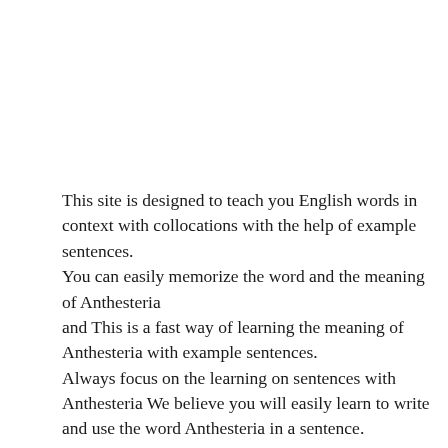This site is designed to teach you English words in context with collocations with the help of example sentences. You can easily memorize the word and the meaning of Anthesteria and This is a fast way of learning the meaning of Anthesteria with example sentences. Always focus on the learning on sentences with Anthesteria We believe you will easily learn to write and use the word Anthesteria in a sentence. You can practice spelling and usage of the word by getting 10 examples of sentences with Anthesteria.